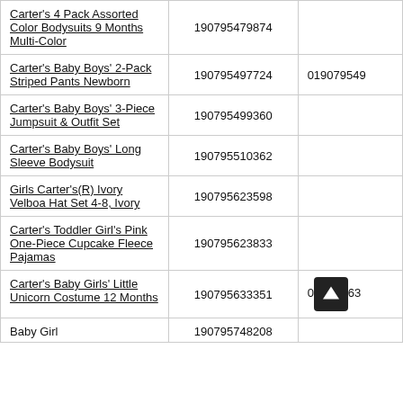| Product Name | UPC | Other |
| --- | --- | --- |
| Carter's 4 Pack Assorted Color Bodysuits 9 Months Multi-Color | 190795479874 |  |
| Carter's Baby Boys' 2-Pack Striped Pants Newborn | 190795497724 | 0190795497... |
| Carter's Baby Boys' 3-Piece Jumpsuit & Outfit Set | 190795499360 |  |
| Carter's Baby Boys' Long Sleeve Bodysuit | 190795510362 |  |
| Girls Carter's(R) Ivory Velboa Hat Set 4-8, Ivory | 190795623598 |  |
| Carter's Toddler Girl's Pink One-Piece Cupcake Fleece Pajamas | 190795623833 |  |
| Carter's Baby Girls' Little Unicorn Costume 12 Months | 190795633351 | 0...63 [icon] |
| Baby Girl | 190795748208 |  |